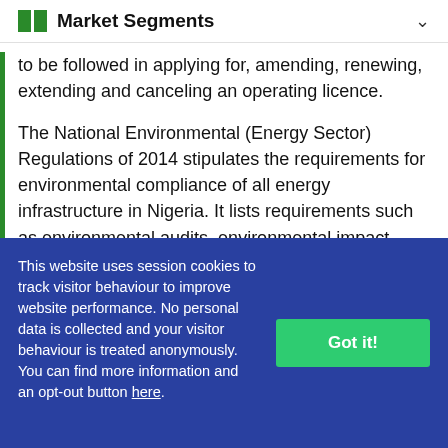Market Segments
to be followed in applying for, amending, renewing, extending and canceling an operating licence.
The National Environmental (Energy Sector) Regulations of 2014 stipulates the requirements for environmental compliance of all energy infrastructure in Nigeria. It lists requirements such as environmental audits, environmental impact assessments and
This website uses session cookies to track visitor behaviour to improve website performance. No personal data is collected and your visitor behaviour is treated anonymously. You can find more information and an opt-out button here.